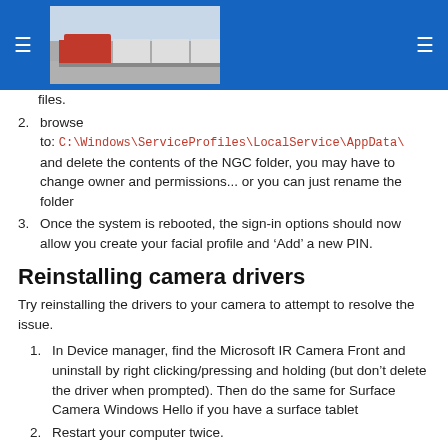[Figure (photo): Website header with blue navigation bar, hamburger menus on left and right, and a photo of a red train locomotive with passenger cars.]
files.
browse to: C:\Windows\ServiceProfiles\LocalService\AppData\ and delete the contents of the NGC folder, you may have to change owner and permissions... or you can just rename the folder
Once the system is rebooted, the sign-in options should now allow you create your facial profile and ‘Add’ a new PIN.
Reinstalling camera drivers
Try reinstalling the drivers to your camera to attempt to resolve the issue.
In Device manager, find the Microsoft IR Camera Front and uninstall by right clicking/pressing and holding (but don’t delete the driver when prompted). Then do the same for Surface Camera Windows Hello if you have a surface tablet
Restart your computer twice.